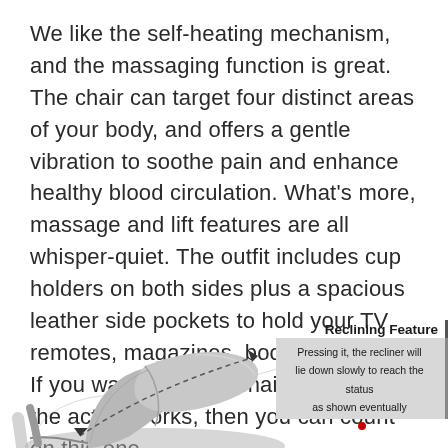We like the self-heating mechanism, and the massaging function is great. The chair can target four distinct areas of your body, and offers a gentle vibration to soothe pain and enhance healthy blood circulation. What's more, massage and lift features are all whisper-quiet. The outfit includes cup holders on both sides plus a spacious leather side pockets to hold your TV remotes, magazines, books, and more. If you want a deluxe chair that offers the actual works, then you can count on this one.
[Figure (illustration): Partial view of a gray recliner chair showing the reclined footrest/leg rest area with a dashed curved arrow indicating the reclining motion, and a filled arrowhead showing direction. A callout box at the right reads 'Reclining Feature' with description text 'Pressing it, the recliner will lie down slowly to reach the status as shown eventually' with a red dot marker.]